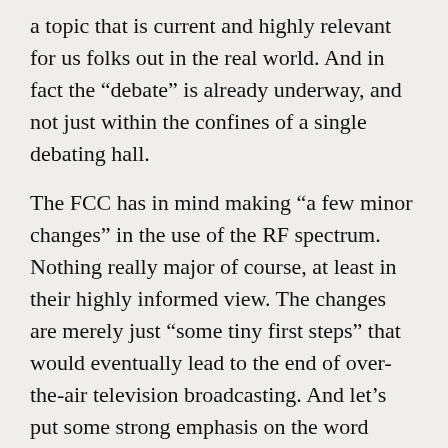a topic that is current and highly relevant for us folks out in the real world.  And in fact the “debate” is already underway, and not just within the confines of a single debating hall.
The FCC has in mind making “a few minor changes” in the use of the RF spectrum.  Nothing really major of course, at least in their highly informed view.  The changes are merely just “some tiny first steps” that would eventually lead to the end of over-the-air television broadcasting.  And let’s put some strong emphasis on the word “broadcasting;” this is an important concept.
The Commission has it in mind for the owners of current television broadcast (there’s that word again!) licenses to relinquish (for cash payments) their existing rights to use the public’s RF spectrum, and